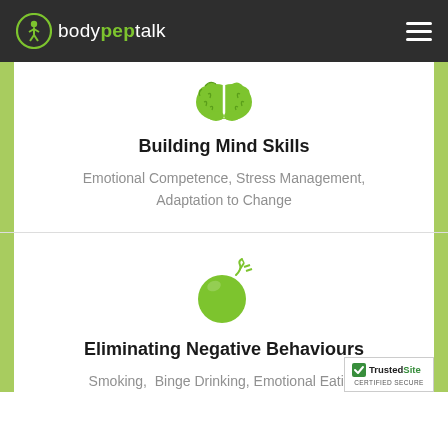bodypeptalk
[Figure (illustration): Green brain icon]
Building Mind Skills
Emotional Competence, Stress Management, Adaptation to Change
[Figure (illustration): Green bomb icon with fuse and spark]
Eliminating Negative Behaviours
Smoking,  Binge Drinking, Emotional Eating
[Figure (logo): TrustedSite Certified Secure badge]